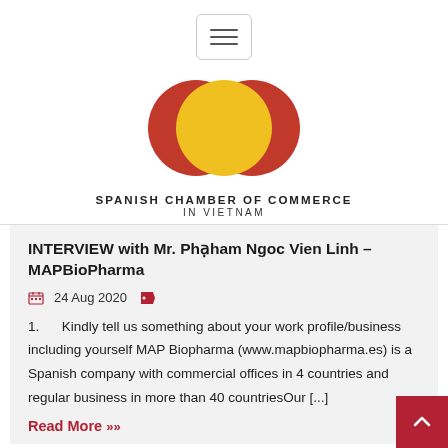Spanish Chamber of Commerce in Vietnam
[Figure (logo): Spanish Chamber of Commerce in Vietnam logo: three overlapping circles (red, yellow, red) with a gold star on the left red circle, text below reads SPANISH CHAMBER OF COMMERCE IN VIETNAM]
INTERVIEW with Mr. Phạm Ngoc Vien Linh – MAPBioPharma
24 Aug 2020
1. Kindly tell us something about your work profile/business including yourself MAP Biopharma (www.mapbiopharma.es) is a Spanish company with commercial offices in 4 countries and regular business in more than 40 countriesOur [...]
Read More »